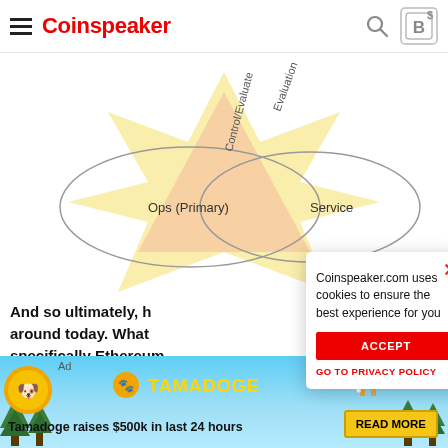Coinspeaker
[Figure (infographic): Diagram showing overlapping ellipses labeled 'Ops (Primary)' and 'Service' with 'Control/Evaluate' text in the intersection area, and a yellow star-burst shape in the background.]
And so ultimately, h... around today. What... specifically Ethereum...
aspect of the config... technology mark...
Coinspeaker.com uses cookies to ensure the best experience for you
ACCEPT   GO TO PRIVACY POLICY
Tamadoge
[Figure (infographic): Tamadoge advertisement banner with logo, pixelated dog character, trees, clouds, and text 'Tamadoge raises $500k in last 24 hours' with a READ MORE button.]